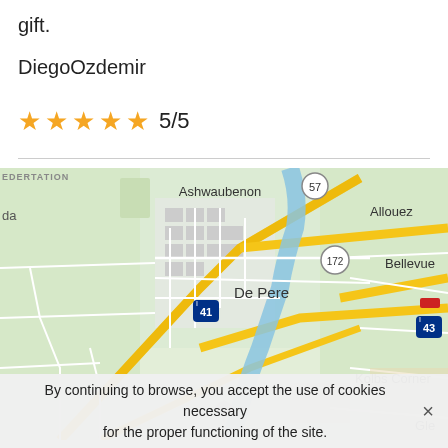gift.
DiegoOzdemir
★★★★★ 5/5
[Figure (map): Google Map showing De Pere area with Ashwaubenon, Allouez, Bellevue, Kolbs Corner, and Gle labels. Highways 41, 43, 57, and 172 are visible. A river runs through the center.]
By continuing to browse, you accept the use of cookies necessary for the proper functioning of the site.